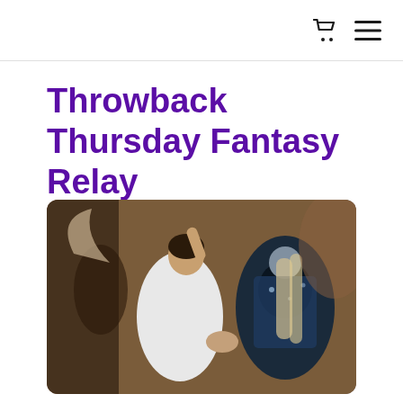[cart icon] [menu icon]
Throwback Thursday Fantasy Relay
[Figure (photo): A scene from a fantasy film showing a woman in a white dress dancing or interacting with a figure in a dark, ornate costume. The woman has dark hair and is reaching upward. The background is blurred with warm tones. The image has rounded corners.]